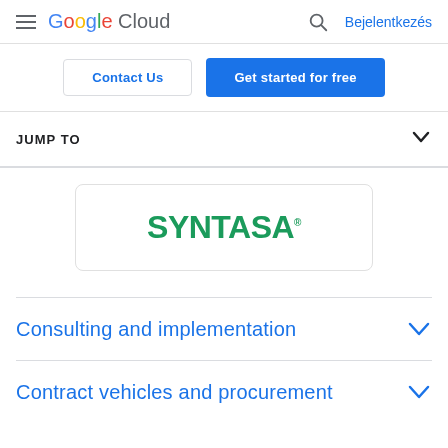Google Cloud — Bejelentkezés
Contact Us
Get started for free
JUMP TO
[Figure (logo): SYNTASA company logo in green text on white background with rounded border card]
Consulting and implementation
Contract vehicles and procurement